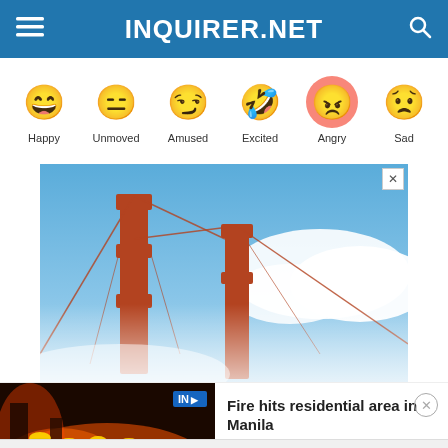INQUIRER.NET
[Figure (illustration): Row of six emoji faces with labels: Happy, Unmoved, Amused, Excited, Angry, Sad]
[Figure (photo): Advertisement banner showing a photo of the Golden Gate Bridge with a blue sky and clouds. A close button (X) appears in the top right corner.]
[Figure (photo): Video thumbnail showing firefighters at a fire scene at night with orange flames visible. Overlay text reads FIRE HITS RESIDENTIAL AREA IN MANILA. INQUIRER logo in top right. Beside it: text saying Fire hits residential area in Manila with a circular X close button.]